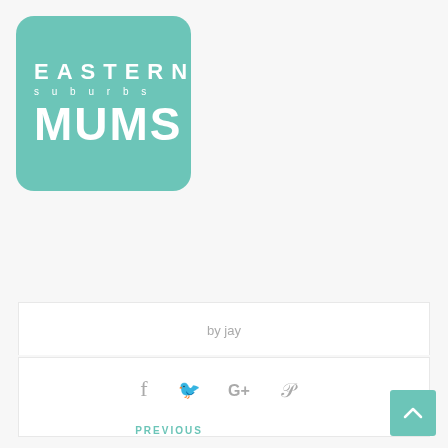[Figure (logo): Eastern Suburbs Mums logo — teal rounded rectangle with white text: EASTERN (large caps), suburbs (small spaced lowercase), MUMS (large bold caps)]
by jay
[Figure (infographic): Social sharing icons: Facebook (f), Twitter (bird), Google+ (G+), Pinterest (P)]
PREVIOUS